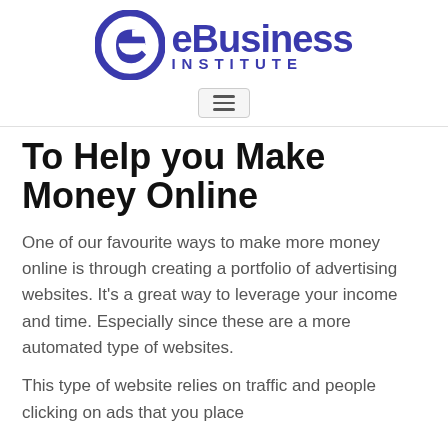[Figure (logo): eBusiness Institute logo with circular 'e' icon in blue and bold blue text reading 'eBusiness INSTITUTE']
[Figure (other): Hamburger menu button with three horizontal lines inside a rounded rectangle]
To Help you Make Money Online
One of our favourite ways to make more money online is through creating a portfolio of advertising websites. It’s a great way to leverage your income and time. Especially since these are a more automated type of websites.
This type of website relies on traffic and people clicking on ads that you place